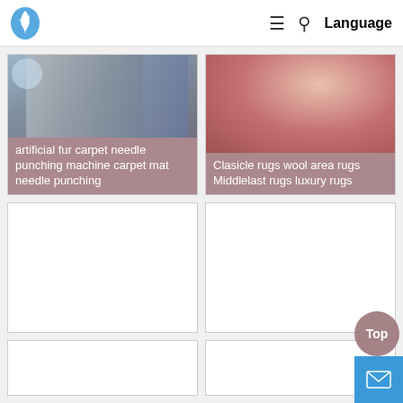[Figure (screenshot): E-commerce website navigation bar with logo (blue shield/leaf icon), hamburger menu icon, search icon, and Language text]
[Figure (photo): Product card top-left: partial image of artificial fur carpet needle punching machine]
artificial fur carpet needle punching machine carpet mat needle punching
[Figure (photo): Product card top-right: partial image of classic rugs wool area rugs]
Clasicle rugs wool area rugs Middlelast rugs luxury rugs
[Figure (photo): Product card mid-left: mostly white/empty product image area for Garage Carpet]
Garage Carpet/Floor Mat/Needle Punched Carpet/Furry Carpet
[Figure (photo): Product card mid-right: mostly white/empty product image area for Carpet/Gold Rush]
Carpet/Gold Rush Carpet/Golden Gate Carpet/High Quality Wholesale Mineral
[Figure (photo): Product card bottom-left: partial white product image area]
[Figure (photo): Product card bottom-right: partial white product image area]